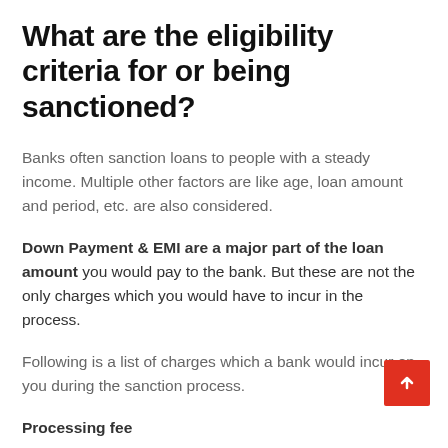What are the eligibility criteria for or being sanctioned?
Banks often sanction loans to people with a steady income. Multiple other factors are like age, loan amount and period, etc. are also considered.
Down Payment & EMI are a major part of the loan amount you would pay to the bank. But these are not the only charges which you would have to incur in the process.
Following is a list of charges which a bank would incur on you during the sanction process.
Processing fee
Banks charge a home loan processing fee of around